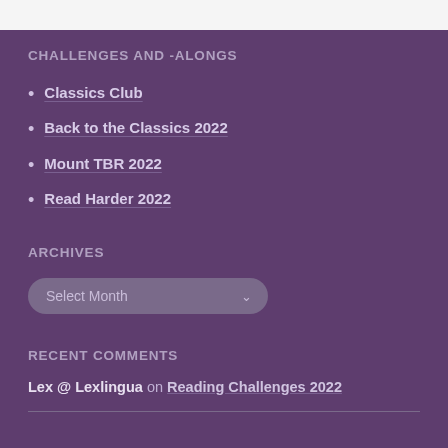CHALLENGES AND -ALONGS
Classics Club
Back to the Classics 2022
Mount TBR 2022
Read Harder 2022
ARCHIVES
Select Month
RECENT COMMENTS
Lex @ Lexlingua on Reading Challenges 2022